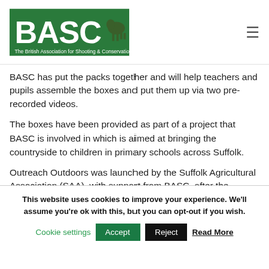BASC – The British Association for Shooting & Conservation
BASC has put the packs together and will help teachers and pupils assemble the boxes and put them up via two pre-recorded videos.
The boxes have been provided as part of a project that BASC is involved in which is aimed at bringing the countryside to children in primary schools across Suffolk.
Outreach Outdoors was launched by the Suffolk Agricultural Association (SAA), with support from BASC, after the cancellation of the SAA's School Farm and Country Fair last year because of the Covid-19 pandemic.
This website uses cookies to improve your experience. We'll assume you're ok with this, but you can opt-out if you wish.
Cookie settings  Accept  Reject  Read More